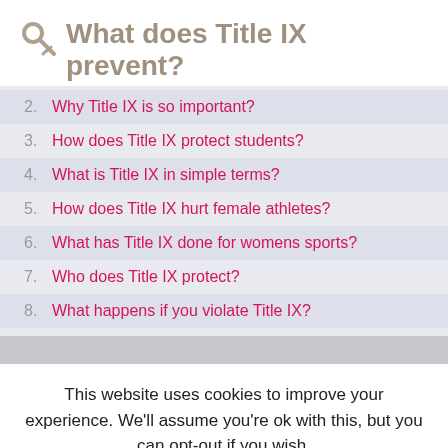What does Title IX prevent?
2. Why Title IX is so important?
3. How does Title IX protect students?
4. What is Title IX in simple terms?
5. How does Title IX hurt female athletes?
6. What has Title IX done for womens sports?
7. Who does Title IX protect?
8. What happens if you violate Title IX?
This website uses cookies to improve your experience. We'll assume you're ok with this, but you can opt-out if you wish.
Accept   Read More